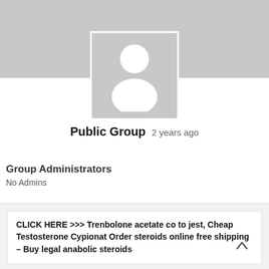[Figure (illustration): Default placeholder avatar image with gray background showing a white silhouette of a person (circle head and rounded body), inside a white-bordered square frame overlapping a gray banner background.]
Public Group   2 years ago
Group Administrators
No Admins
CLICK HERE >>> Trenbolone acetate co to jest, Cheap Testosterone Cypionat Order steroids online free shipping – Buy legal anabolic steroids